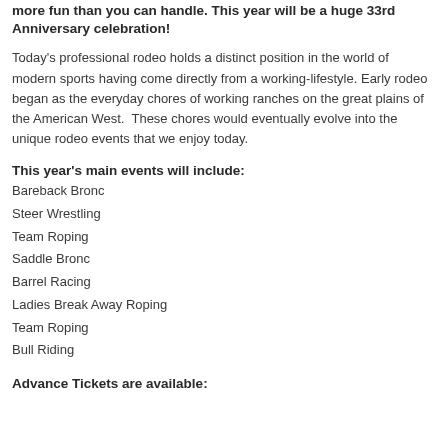more fun than you can handle. This year will be a huge 33rd Anniversary celebration!
Today's professional rodeo holds a distinct position in the world of modern sports having come directly from a working-lifestyle. Early rodeo began as the everyday chores of working ranches on the great plains of the American West. These chores would eventually evolve into the unique rodeo events that we enjoy today.
This year's main events will include:
Bareback Bronc
Steer Wrestling
Team Roping
Saddle Bronc
Barrel Racing
Ladies Break Away Roping
Team Roping
Bull Riding
Advance Tickets are available: